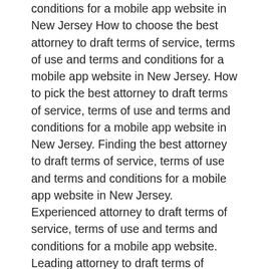conditions for a mobile app website in New Jersey How to choose the best attorney to draft terms of service, terms of use and terms and conditions for a mobile app website in New Jersey. How to pick the best attorney to draft terms of service, terms of use and terms and conditions for a mobile app website in New Jersey. Finding the best attorney to draft terms of service, terms of use and terms and conditions for a mobile app website in New Jersey. Experienced attorney to draft terms of service, terms of use and terms and conditions for a mobile app website. Leading attorney to draft terms of service, terms of use and terms and conditions for a mobile app website. Top rated attorney to draft terms of service, terms of use and terms and conditions for a mobile app website. Find an expert attorney to draft terms